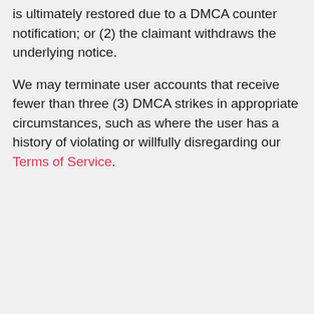is ultimately restored due to a DMCA counter notification; or (2) the claimant withdraws the underlying notice.
We may terminate user accounts that receive fewer than three (3) DMCA strikes in appropriate circumstances, such as where the user has a history of violating or willfully disregarding our Terms of Service.